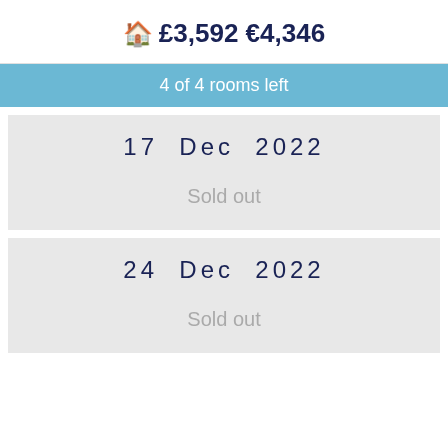🏠 £3,592 €4,346
4 of 4 rooms left
17  Dec  2022
Sold out
24  Dec  2022
Sold out